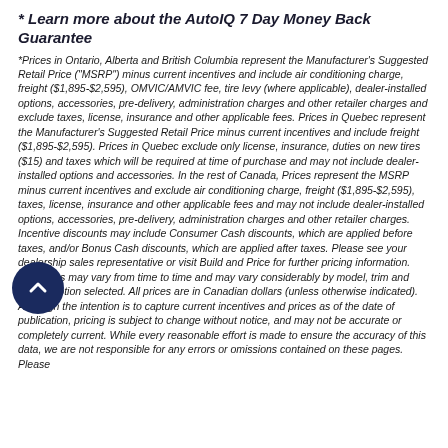* Learn more about the AutoIQ 7 Day Money Back Guarantee
*Prices in Ontario, Alberta and British Columbia represent the Manufacturer's Suggested Retail Price ("MSRP") minus current incentives and include air conditioning charge, freight ($1,895-$2,595), OMVIC/AMVIC fee, tire levy (where applicable), dealer-installed options, accessories, pre-delivery, administration charges and other retailer charges and exclude taxes, license, insurance and other applicable fees. Prices in Quebec represent the Manufacturer's Suggested Retail Price minus current incentives and include freight ($1,895-$2,595). Prices in Quebec exclude only license, insurance, duties on new tires ($15) and taxes which will be required at time of purchase and may not include dealer-installed options and accessories. In the rest of Canada, Prices represent the MSRP minus current incentives and exclude air conditioning charge, freight ($1,895-$2,595), taxes, license, insurance and other applicable fees and may not include dealer-installed options, accessories, pre-delivery, administration charges and other retailer charges. Incentive discounts may include Consumer Cash discounts, which are applied before taxes, and/or Bonus Cash discounts, which are applied after taxes. Please see your dealership sales representative or visit Build and Price for further pricing information. Incentives may vary from time to time and may vary considerably by model, trim and engine option selected. All prices are in Canadian dollars (unless otherwise indicated). Although the intention is to capture current incentives and prices as of the date of publication, pricing is subject to change without notice, and may not be accurate or completely current. While every reasonable effort is made to ensure the accuracy of this data, we are not responsible for any errors or omissions contained on these pages. Please